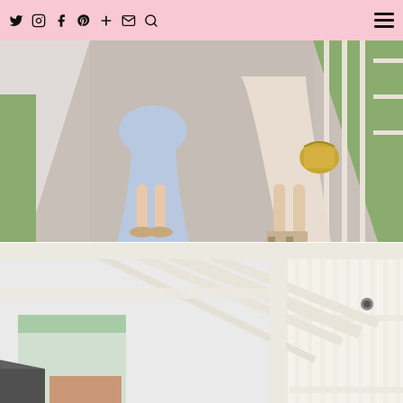Social media icons (Twitter, Instagram, Facebook, Pinterest, Plus, Email, Search) and hamburger menu
[Figure (photo): Lower bodies of two females (a child and an adult) walking on a gravel path. The child wears a blue dress and tan sandals; the adult wears a beige dress with a gold handbag and nude block-heel sandals. Green grass and a wooden fence are visible to the right.]
[Figure (photo): Exterior architectural detail of a coastal/beach house showing white railing, balcony, pergola/lattice structure, and a small colorful building in the background. The sky is overcast/white.]